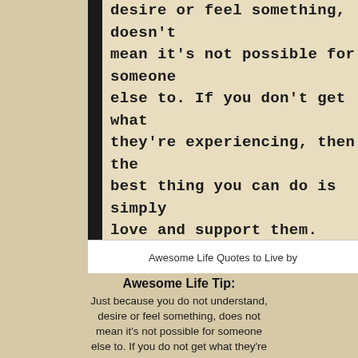[Figure (photo): Typewriter text on aged beige paper with a black border strip on the left. The text reads: 'desire or feel something, doesn't mean it's not possible for someone else to. If you don't get what they're experiencing, then the best thing you can do is simply love and support them. Don't all your lack of understanding to turn it into anything other than what it is for them.']
Awesome Life Quotes to Live by
Awesome Life Tip:
Just because you do not understand, desire or feel something, does not mean it's not possible for someone else to. If you do not get what they're experiencing, then the best thing you can do is simply love and support them. Do not allow your lack of understanding to turn it into anything other than what it